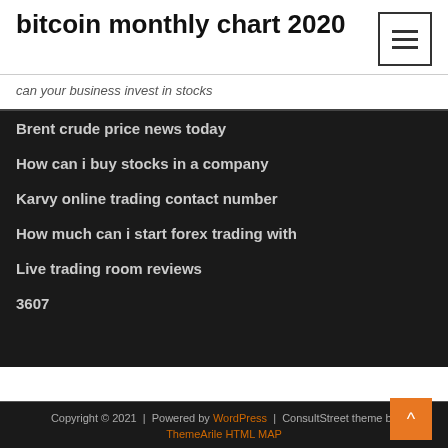bitcoin monthly chart 2020
can your business invest in stocks
Brent crude price news today
How can i buy stocks in a company
Karvy online trading contact number
How much can i start forex trading with
Live trading room reviews
3607
Copyright © 2021 | Powered by WordPress | ConsultStreet theme by ThemeArile HTML MAP